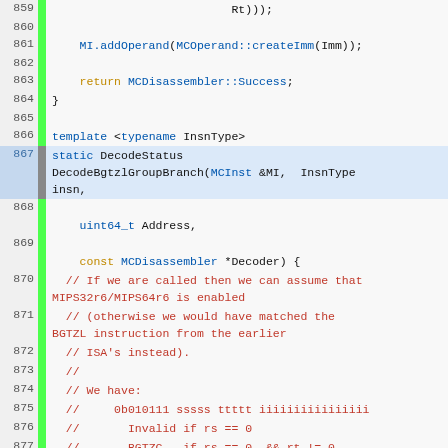[Figure (screenshot): Source code viewer showing C++ code lines 859-884, with syntax highlighting. Line 867 is highlighted in blue. Green vertical gutter bar on left. Code includes template function DecodeBgtzlGroupBranch with comments explaining MIPS32r6/MIPS64r6 instruction decoding logic.]